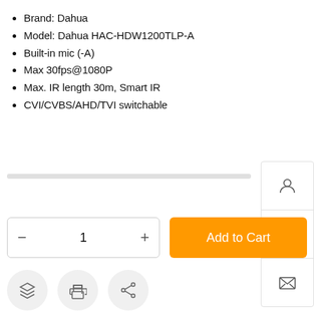Brand: Dahua
Model: Dahua HAC-HDW1200TLP-A
Built-in mic (-A)
Max 30fps@1080P
Max. IR length 30m, Smart IR
CVI/CVBS/AHD/TVI switchable